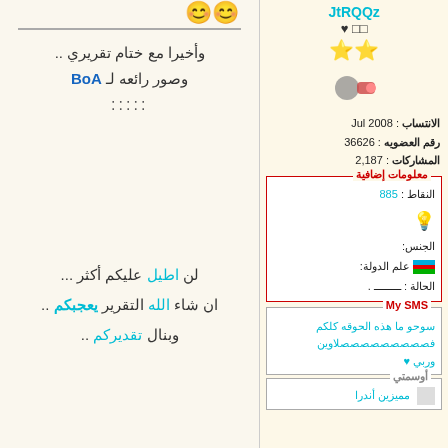وأخيرا مع ختام تقريري ..
وصور رائعه لـ BoA
:::::
JtRQQz ♥ □□
الانتساب : Jul 2008
رقم العضويه : 36626
المشاركات : 2,187
معلومات إضافية
النقاط : 885
الجنس:
علم الدولة:
الحالة : ـــــــــ .
My SMS
سوحو ما هذه الحوقه كلكم فصصصصصصصصصلاوين وربي ♥
أوسمتي
مميزين أندرا
لن اطيل عليكم أكثر ...
ان شاء الله التقرير يعجبكم ..
وبنال تقديركم ..